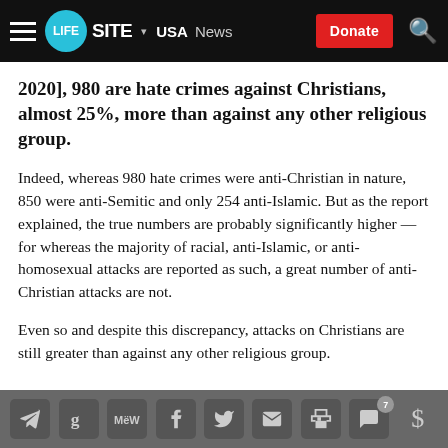LifeSite — USA | News | Donate
2020], 980 are hate crimes against Christians, almost 25%, more than against any other religious group.
Indeed, whereas 980 hate crimes were anti-Christian in nature, 850 were anti-Semitic and only 254 anti-Islamic. But as the report explained, the true numbers are probably significantly higher — for whereas the majority of racial, anti-Islamic, or anti-homosexual attacks are reported as such, a great number of anti-Christian attacks are not.
Even so and despite this discrepancy, attacks on Christians are still greater than against any other religious group.
Share bar with social icons and comment count 7